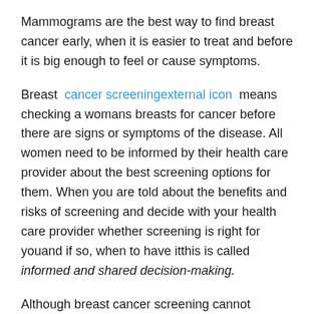Mammograms are the best way to find breast cancer early, when it is easier to treat and before it is big enough to feel or cause symptoms.
Breast cancer screeningexternal icon means checking a womans breasts for cancer before there are signs or symptoms of the disease. All women need to be informed by their health care provider about the best screening options for them. When you are told about the benefits and risks of screening and decide with your health care provider whether screening is right for youand if so, when to have itthis is called informed and shared decision-making.
Although breast cancer screening cannot prevent breast cancer, it can help find breast cancer early, when it is easier to treat. Talk to your doctor about which breast cancer screening tests are right for you, and when you should have